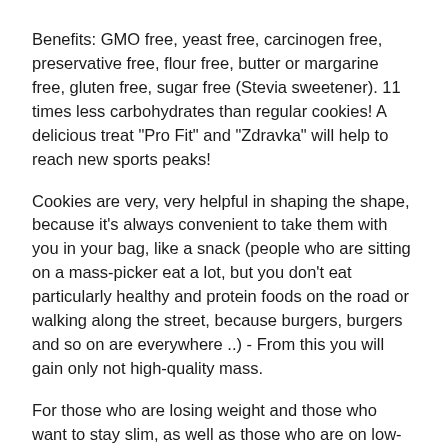Benefits: GMO free, yeast free, carcinogen free, preservative free, flour free, butter or margarine free, gluten free, sugar free (Stevia sweetener). 11 times less carbohydrates than regular cookies! A delicious treat "Pro Fit" and "Zdravka" will help to reach new sports peaks!
Cookies are very, very helpful in shaping the shape, because it's always convenient to take them with you in your bag, like a snack (people who are sitting on a mass-picker eat a lot, but you don't eat particularly healthy and protein foods on the road or walking along the street, because burgers, burgers and so on are everywhere ..) - From this you will gain only not high-quality mass.
For those who are losing weight and those who want to stay slim, as well as those who are on low-carb diets: an almost complete absence of carbohydrates, a lot of protein, which contributes to a higher level of metabolism. Low calorie product.
For people who want to always look lean and dry, for those who are on low-carb diets: an almost complete absence of carbohydrates, a lot of protein, which contributes to a high…